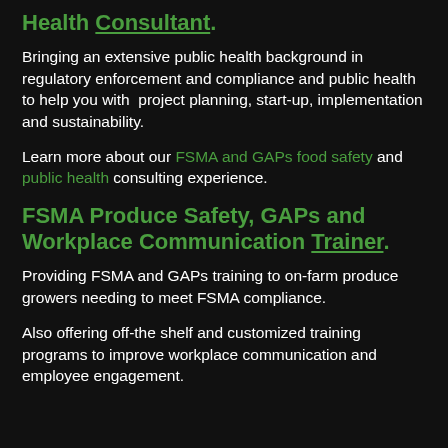Health Consultant.
Bringing an extensive public health background in regulatory enforcement and compliance and public health to help you with project planning, start-up, implementation and sustainability.
Learn more about our FSMA and GAPs food safety and public health consulting experience.
FSMA Produce Safety, GAPs and Workplace Communication Trainer.
Providing FSMA and GAPs training to on-farm produce growers needing to meet FSMA compliance.
Also offering off-the shelf and customized training programs to improve workplace communication and employee engagement.